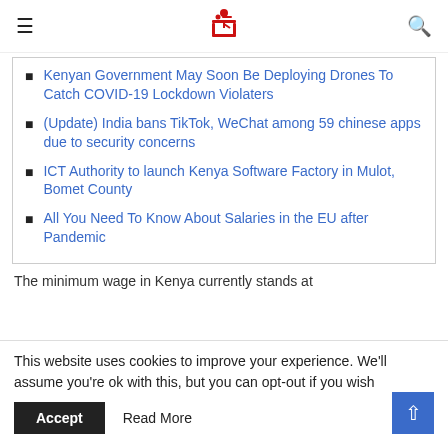≡ [logo] 🔍
Kenyan Government May Soon Be Deploying Drones To Catch COVID-19 Lockdown Violaters
(Update) India bans TikTok, WeChat among 59 chinese apps due to security concerns
ICT Authority to launch Kenya Software Factory in Mulot, Bomet County
All You Need To Know About Salaries in the EU after Pandemic
The minimum wage in Kenya currently stands at
This website uses cookies to improve your experience. We'll assume you're ok with this, but you can opt-out if you wish